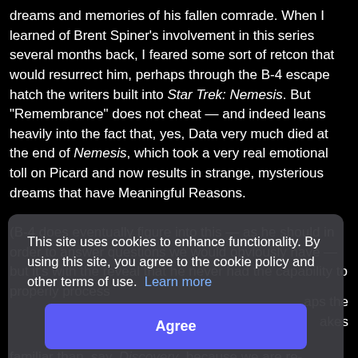dreams and memories of his fallen comrade. When I learned of Brent Spiner's involvement in this series several months back, I feared some sort of retcon that would resurrect him, perhaps through the B-4 escape hatch the writers built into Star Trek: Nemesis. But "Remembrance" does not cheat — and indeed leans heavily into the fact that, yes, Data very much died at the end of Nemesis, which took a very real emotional toll on Picard and now results in strange, mysterious dreams that have Meaningful Reasons.

(B-4 does eventually figure into this — as he should in order to answer questions we would obviously have — but it's with the reveal that he never had the capability to properly process ... aps the ... akes ... uch of it ... ceau, ... t doing ... and familiar than, say, Discovery, because we are re-entering a
This site uses cookies to enhance functionality. By using this site, you agree to the cookie policy and other terms of use. Learn more
Agree